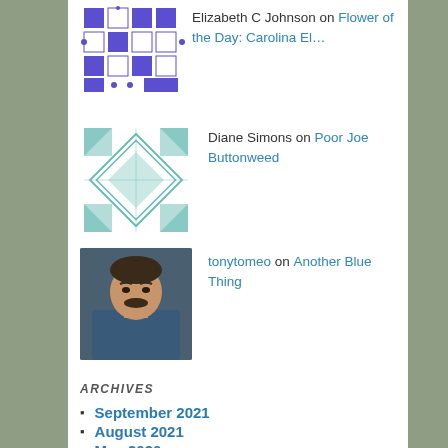Elizabeth C Johnson on Flower of the Day: Carolina El…
Diane Simons on Poor Joe Buttonweed
tonytomeo on Another Blue Thing
ARCHIVES
September 2021
August 2021
May 2020
April 2020
March 2020
April 2019
March 2019
November 2018
October 2018
September 2018
August 2018